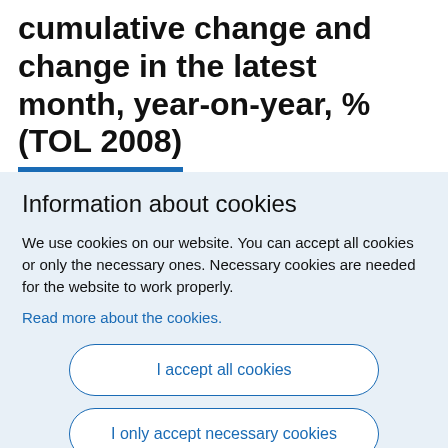cumulative change and change in the latest month, year-on-year, % (TOL 2008)
Information about cookies
We use cookies on our website. You can accept all cookies or only the necessary ones. Necessary cookies are needed for the website to work properly.
Read more about the cookies.
I accept all cookies
I only accept necessary cookies